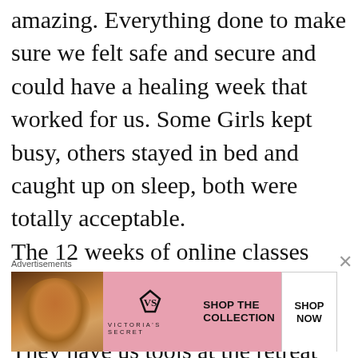amazing. Everything done to make sure we felt safe and secure and could have a healing week that worked for us. Some Girls kept busy, others stayed in bed and caught up on sleep, both were totally acceptable. The 12 weeks of online classes after just ended for me and I already miss it. They have us tools at the retreat and the follow class gave us courage and foundation to utilize those tools.
[Figure (other): Victoria's Secret advertisement banner with a model photo on the left, VS logo and brand name in the center on a pink background, 'SHOP THE COLLECTION' text, and a 'SHOP NOW' button on the right.]